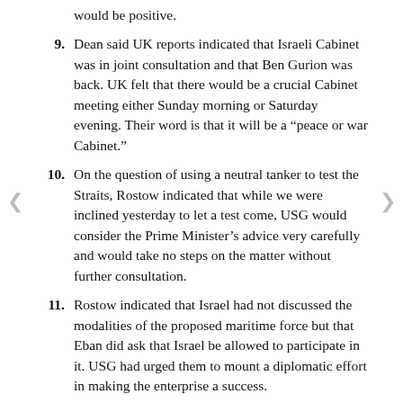would be positive.
9. Dean said UK reports indicated that Israeli Cabinet was in joint consultation and that Ben Gurion was back. UK felt that there would be a crucial Cabinet meeting either Sunday morning or Saturday evening. Their word is that it will be a “peace or war Cabinet.”
10. On the question of using a neutral tanker to test the Straits, Rostow indicated that while we were inclined yesterday to let a test come, USG would consider the Prime Minister’s advice very carefully and would take no steps on the matter without further consultation.
11. Rostow indicated that Israel had not discussed the modalities of the proposed maritime force but that Eban did ask that Israel be allowed to participate in it. USG had urged them to mount a diplomatic effort in making the enterprise a success.
12. Rostow asked Ambassador Dean what news he had about Cabinet meeting. Dean indicated that the Hermes had been turned around and was now sailing west toward Aden and that the Cabinet did not like the idea of a test probe in the Gulf. The Cabinet was, however, most anxious to learn about